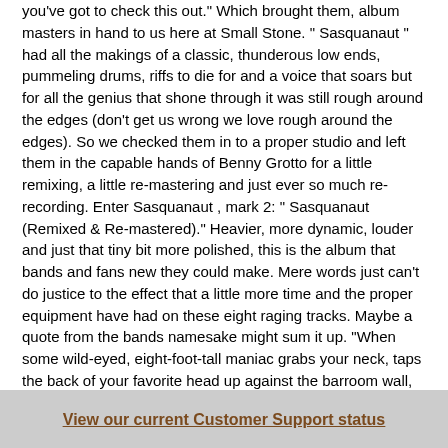you've got to check this out." Which brought them, album masters in hand to us here at Small Stone. " Sasquanaut " had all the makings of a classic, thunderous low ends, pummeling drums, riffs to die for and a voice that soars but for all the genius that shone through it was still rough around the edges (don't get us wrong we love rough around the edges). So we checked them in to a proper studio and left them in the capable hands of Benny Grotto for a little remixing, a little re-mastering and just ever so much re-recording. Enter Sasquanaut , mark 2: " Sasquanaut (Remixed & Re-mastered)." Heavier, more dynamic, louder and just that tiny bit more polished, this is the album that bands and fans new they could make. Mere words just can't do justice to the effect that a little more time and the proper equipment have had on these eight raging tracks. Maybe a quote from the bands namesake might sum it up. "When some wild-eyed, eight-foot-tall maniac grabs your neck, taps the back of your favorite head up against the barroom wall, and he looks you crooked in the eye and he asks you if ya paid your dues, you just stare that big sucker right back in the eye, and you remember what ol' Jack Burton always says at a time like that: "Have ya paid your dues, Jack?" "Yessir, the check is in the mail." The boys heads back into the studio for a proper follow-up this fall and look for the band on tour this winter and remember IT'S ALL IN THE REFLEXES!
http://www.facebook.com/pages/Lo-Pan/130592378248
Location
View our current Customer Support status